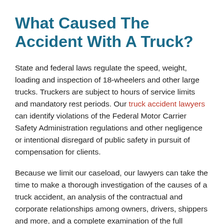What Caused The Accident With A Truck?
State and federal laws regulate the speed, weight, loading and inspection of 18-wheelers and other large trucks. Truckers are subject to hours of service limits and mandatory rest periods. Our truck accident lawyers can identify violations of the Federal Motor Carrier Safety Administration regulations and other negligence or intentional disregard of public safety in pursuit of compensation for clients.
Because we limit our caseload, our lawyers can take the time to make a thorough investigation of the causes of a truck accident, an analysis of the contractual and corporate relationships among owners, drivers, shippers and more, and a complete examination of the full...